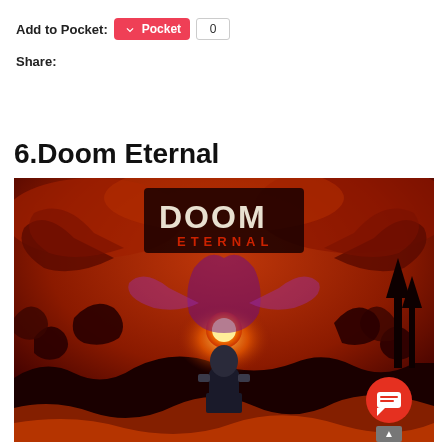Add to Pocket:
Share:
click here to see part 1
6.Doom Eternal
[Figure (photo): Doom Eternal game cover art showing demons, hellfire, and the Doom Slayer character with the DOOM ETERNAL logo at the top]